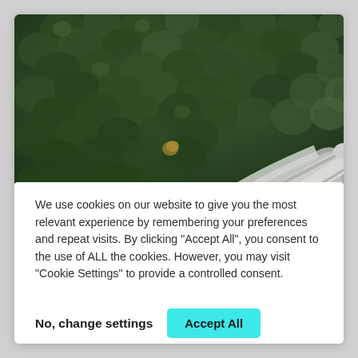[Figure (photo): Aerial drone view of a dense evergreen forest with a winding road/path curving through it, seen from directly above. Dark green conifer trees fill most of the frame with a light gray curved road visible in the lower right portion.]
We use cookies on our website to give you the most relevant experience by remembering your preferences and repeat visits. By clicking “Accept All”, you consent to the use of ALL the cookies. However, you may visit “Cookie Settings” to provide a controlled consent.
No, change settings
Accept All